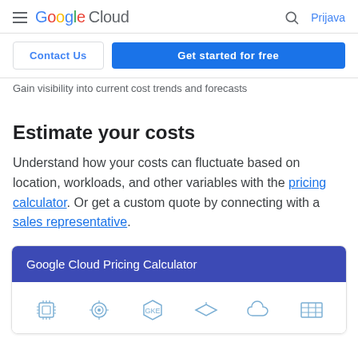Google Cloud — Prijava
Gain visibility into current cost trends and forecasts
Estimate your costs
Understand how your costs can fluctuate based on location, workloads, and other variables with the pricing calculator. Or get a custom quote by connecting with a sales representative.
[Figure (screenshot): Google Cloud Pricing Calculator widget header with icon row]